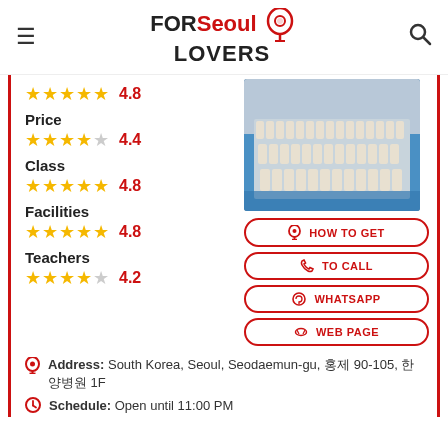FOR Seoul LOVERS
4.8
Price
4.4
Class
4.8
Facilities
4.8
Teachers
4.2
[Figure (photo): Group photo of martial arts students in white uniforms on a blue mat]
HOW TO GET
TO CALL
WHATSAPP
WEB PAGE
Address: South Korea, Seoul, Seodaemun-gu, 홍제 90-105, 한양병원 1F
Schedule: Open until 11:00 PM